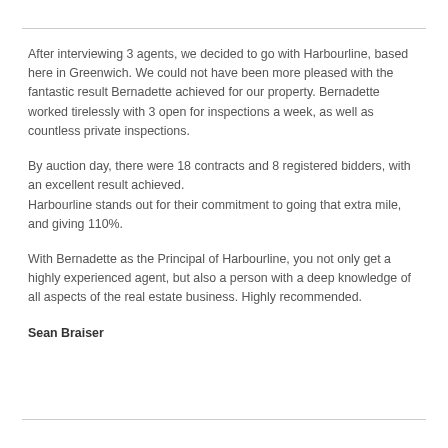After interviewing 3 agents, we decided to go with Harbourline, based here in Greenwich. We could not have been more pleased with the fantastic result Bernadette achieved for our property. Bernadette worked tirelessly with 3 open for inspections a week, as well as countless private inspections.
By auction day, there were 18 contracts and 8 registered bidders, with an excellent result achieved.
Harbourline stands out for their commitment to going that extra mile, and giving 110%.
With Bernadette as the Principal of Harbourline, you not only get a highly experienced agent, but also a person with a deep knowledge of all aspects of the real estate business. Highly recommended.
Sean Braiser